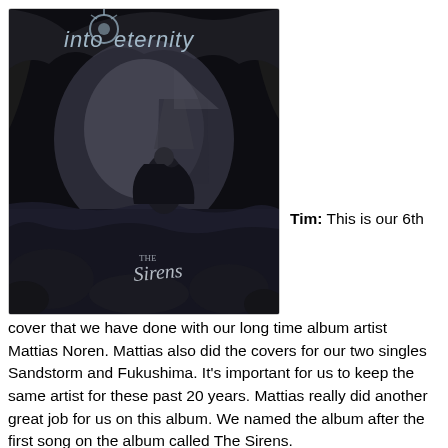[Figure (photo): Album cover for 'The Sirens' by Into Eternity. A dark, gothic black-and-white image featuring a woman in a cape near water with a large sailing ship in the background, surrounded by rocky cave-like formations. The band name 'into eternity' is at the top in stylized text, and 'The Sirens' is written in cursive at the bottom right.]
Tim: This is our 6th cover that we have done with our long time album artist Mattias Noren. Mattias also did the covers for our two singles Sandstorm and Fukushima. It's important for us to keep the same artist for these past 20 years. Mattias really did another great job for us on this album. We named the album after the first song on the album called The Sirens.